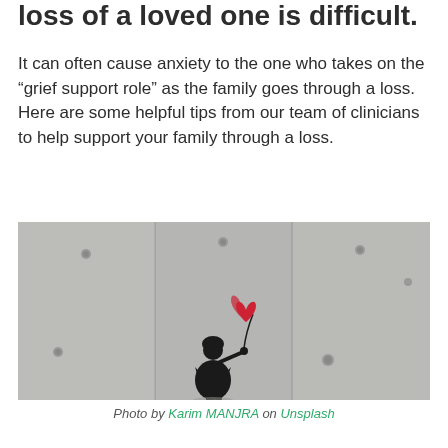loss of a loved one is difficult.
It can often cause anxiety to the one who takes on the “grief support role” as the family goes through a loss. Here are some helpful tips from our team of clinicians to help support your family through a loss.
[Figure (photo): Banksy-style street art photograph showing a small girl in black silhouette reaching toward a red heart-shaped balloon floating away, against a concrete wall background. Black and white photo with the balloon in red.]
Photo by Karim MANJRA on Unsplash